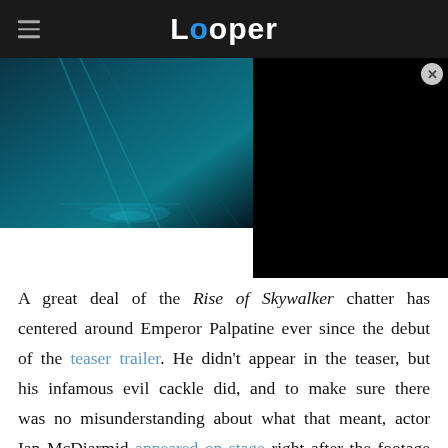Looper
[Figure (screenshot): Dark teal/blue sci-fi scene (Star Wars Rise of Skywalker imagery) with a black video overlay panel on the right side and a close button]
A great deal of the Rise of Skywalker chatter has centered around Emperor Palpatine ever since the debut of the teaser trailer. He didn't appear in the teaser, but his infamous evil cackle did, and to make sure there was no misunderstanding about what that meant, actor Ian McDiarmid appeared on stage right after the footage premiered at Star Wars Celebration 2019. We didn't get a full-on shot of